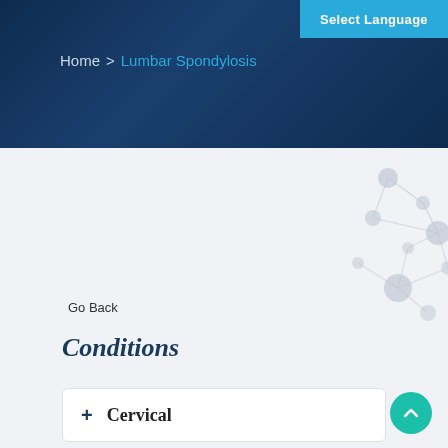Select Language
Home > Lumbar Spondylosis
Go Back
Conditions
+ Cervical
+ Thoracic
[Figure (illustration): Decorative network/molecular diagram with grey circles connected by lines in upper right corner of content area]
[Figure (illustration): Teal circular scroll-to-top button with upward chevron arrow in bottom right corner]